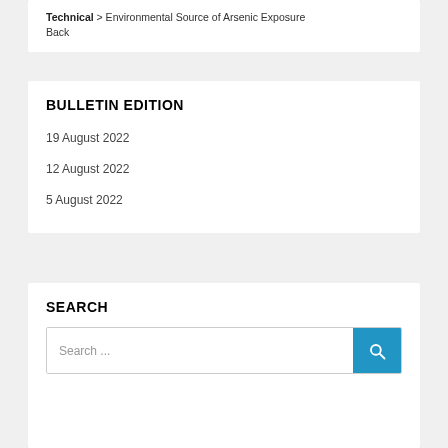Technical > Environmental Source of Arsenic Exposure
Back
BULLETIN EDITION
19 August 2022
12 August 2022
5 August 2022
SEARCH
Search ...